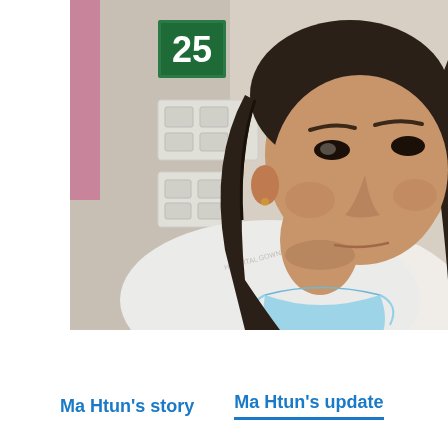[Figure (photo): A woman wearing a blue surgical mask pulled down below her chin, dressed in a white hospital gown, in what appears to be a hospital room. Behind her is a wall with a green room number sign showing '25', light switches, and medical equipment panels.]
Ma Htun's story   Ma Htun's update